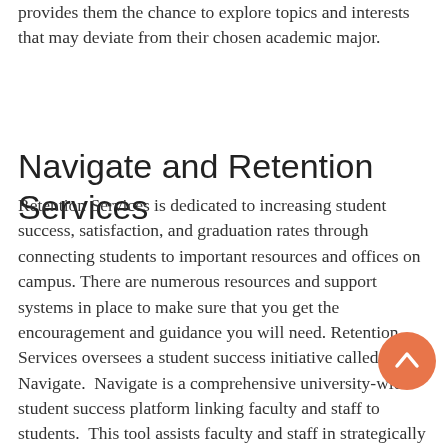provides them the chance to explore topics and interests that may deviate from their chosen academic major.
Navigate and Retention Services
Retention Services is dedicated to increasing student success, satisfaction, and graduation rates through connecting students to important resources and offices on campus. There are numerous resources and support systems in place to make sure that you get the encouragement and guidance you will need. Retention Services oversees a student success initiative called Navigate. Navigate is a comprehensive university-wide student success platform linking faculty and staff to students. This tool assists faculty and staff in strategically supporting our students and addressing the needs of our campus. Students will have access to a mobile app and desktop application